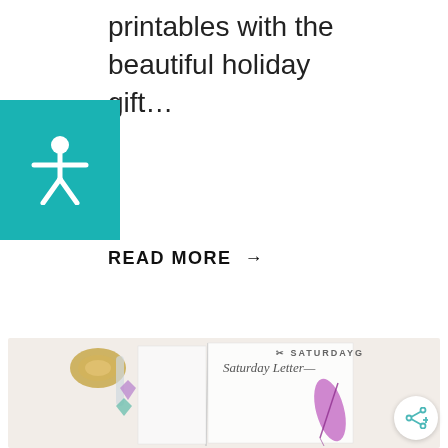printables with the beautiful holiday gift…
READ MORE →
[Figure (photo): Photo of a Saturday Gift stationery set — an open notepad reading 'Saturday Letter—' with a purple feather on the right page, decorative crystals and a gold item on the left, set against a white background. A 'SATURDAYG' watermark appears in the top right of the photo.]